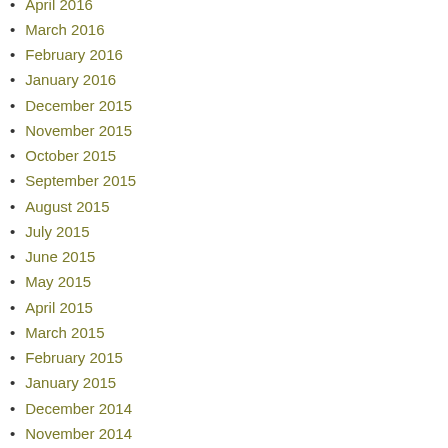April 2016
March 2016
February 2016
January 2016
December 2015
November 2015
October 2015
September 2015
August 2015
July 2015
June 2015
May 2015
April 2015
March 2015
February 2015
January 2015
December 2014
November 2014
October 2014
September 2014
August 2014